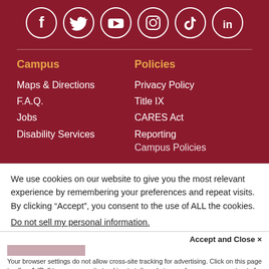[Figure (illustration): Social media icons in white circles on dark red background: Facebook, Twitter, YouTube, Instagram, TikTok, LinkedIn]
Campus
Maps & Directions
F.A.Q.
Jobs
Disability Services
Policies
Privacy Policy
Title IX
CARES Act Reporting
Campus Policies
We use cookies on our website to give you the most relevant experience by remembering your preferences and repeat visits. By clicking “Accept”, you consent to the use of ALL the cookies.
Do not sell my personal information.
Accept and Close ×
Your browser settings do not allow cross-site tracking for advertising. Click on this page to allow AdRoll to use cross-site tracking to tailor ads to you. Learn more or opt out of this AdRoll tracking by clicking here. This message only appears once.